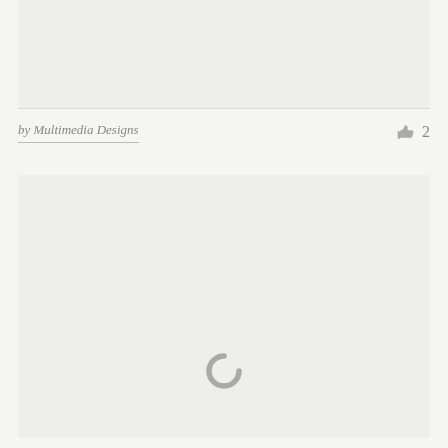[Figure (other): Top image placeholder area with light gray background]
by Multimedia Designs   👍 2
[Figure (other): Large image/content area with loading spinner (C-shaped arc) centered near bottom]